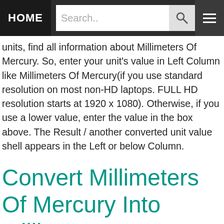HOME | Search..
units, find all information about Millimeters Of Mercury. So, enter your unit's value in Left Column like Millimeters Of Mercury(if you use standard resolution on most non-HD laptops. FULL HD resolution starts at 1920 x 1080). Otherwise, if you use a lower value, enter the value in the box above. The Result / another converted unit value shell appears in the Left or below Column.
Convert Millimeters Of Mercury Into Millitorr